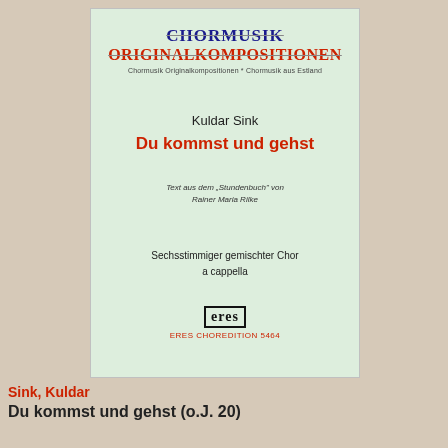[Figure (illustration): Sheet music cover page for 'Du kommst und gehst' by Kuldar Sink, published by Eres Choredition 5464. Light green background with series title 'Chormusik Originalkompositionen' at top, composer name, piece title in red, text source note, scoring info, and Eres publisher logo.]
Sink, Kuldar
Du kommst und gehst (o.J. 20)